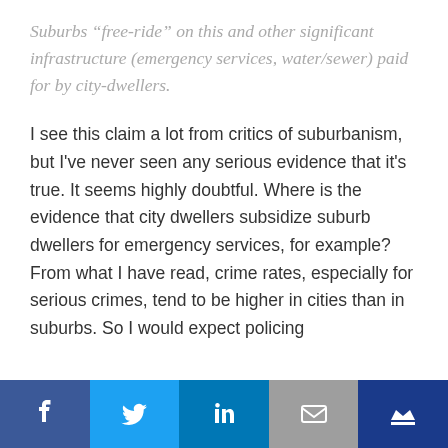Suburbs “free-ride” on this and other significant infrastructure (emergency services, water/sewer) paid for by city-dwellers.
I see this claim a lot from critics of suburbanism, but I've never seen any serious evidence that it's true. It seems highly doubtful. Where is the evidence that city dwellers subsidize suburb dwellers for emergency services, for example? From what I have read, crime rates, especially for serious crimes, tend to be higher in cities than in suburbs. So I would expect policing
Social share bar: Facebook, Twitter, LinkedIn, Email, Crown